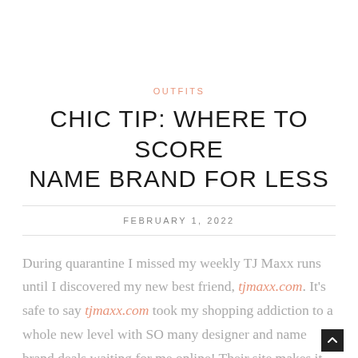OUTFITS
CHIC TIP: WHERE TO SCORE NAME BRAND FOR LESS
FEBRUARY 1, 2022
During quarantine I missed my weekly TJ Maxx runs until I discovered my new best friend, tjmaxx.com. It's safe to say tjmaxx.com took my shopping addiction to a whole new level with SO many designer and name brand deals waiting for me online! Their site makes it easy to find exactly what